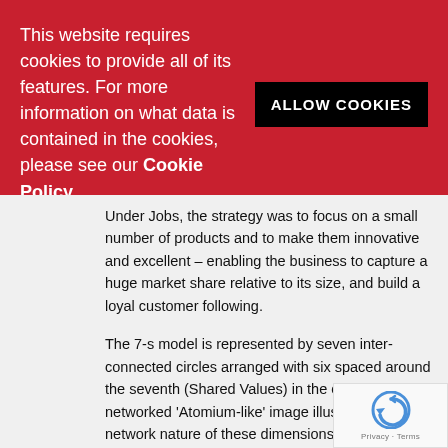This website requires cookies to provide all of its features. For more information on what data is contained in the cookies, please see our Cookie Policy
[Figure (other): ALLOW COOKIES black button]
Under Jobs, the strategy was to focus on a small number of products and to make them innovative and excellent – enabling the business to capture a huge market share relative to its size, and build a loyal customer following.
The 7-s model is represented by seven inter-connected circles arranged with six spaced around the seventh (Shared Values) in the centre. This networked 'Atomium-like' image illustrates well, the network nature of these dimensions and their inter-relatedness.  There is also a big © symbol attached to it so, notwithstanding the numerous reproductions in derivative books and websites, we'll settle for our alternative representation, a picture of Pascal d...
[Figure (other): reCAPTCHA badge with Privacy and Terms text]